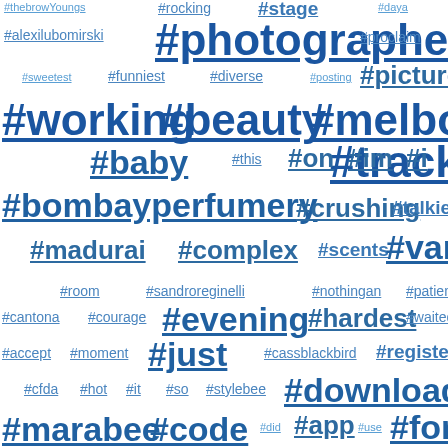[Figure (infographic): Word cloud of hashtags in varying font sizes and shades of blue, representing frequency/popularity of social media hashtags including #photographers, #working, #beauty, #melbourne, #track, #baby, #bombayperfumery, #vanity, #evening, #hardest, #just, #download, #marabee, #code, #app, #for, #post, #reminds, #that, #oliviamalone, #gucci, #shiny, #patmcgrathlabs, #wanted, #all, #idinamenzel, #billboard, #stopping, #idina and many others]